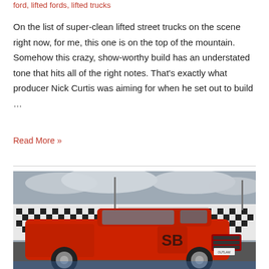ford, lifted fords, lifted trucks
On the list of super-clean lifted street trucks on the scene right now, for me, this one is on the top of the mountain. Somehow this crazy, show-worthy build has an understated tone that hits all of the right notes. That's exactly what producer Nick Curtis was aiming for when he set out to build ...
Read More »
[Figure (photo): A red lifted Ford F-150 truck parked at a racetrack identified as 'World Center of Racing', with checkered flag fencing visible in the background and overcast skies. The truck has 'OUTLAW' on the front plate and custom SB branding on the doors.]